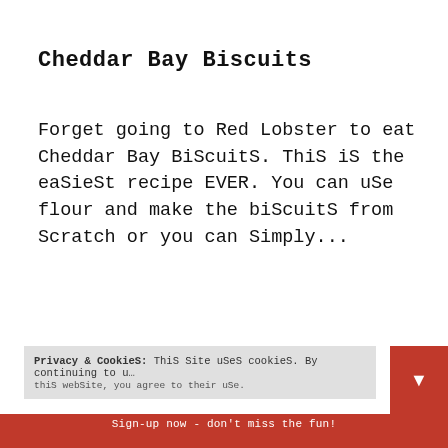Cheddar Bay Biscuits
Forget going to Red Lobster to eat Cheddar Bay Biscuits. This is the easiest recipe EVER. You can uSe flour and make the biscuits from Scratch or you can Simply...
Privacy & Cookies: This site uses cookies. By continuing to use this website, you agree to their use.
Continue reading...
Sign-up now - don't miss the fun!
Your email address..
Subscribe